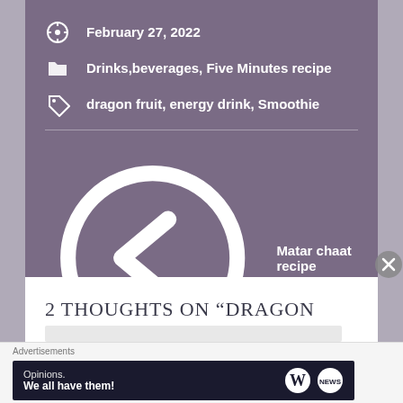February 27, 2022
Drinks,beverages, Five Minutes recipe
dragon fruit, energy drink, Smoothie
Matar chaat recipe
Thukpa recipe
2 THOUGHTS ON “DRAGON FRUIT SMOOTHIE”
Advertisements
Opinions. We all have them!